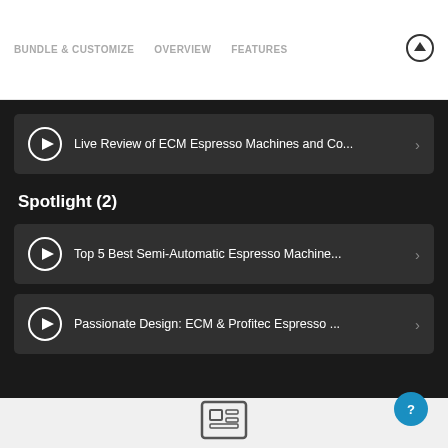BUNDLE & CUSTOMIZE   OVERVIEW   FEATURES
Live Review of ECM Espresso Machines and Co...
Spotlight (2)
Top 5 Best Semi-Automatic Espresso Machine...
Passionate Design: ECM & Profitec Espresso ...